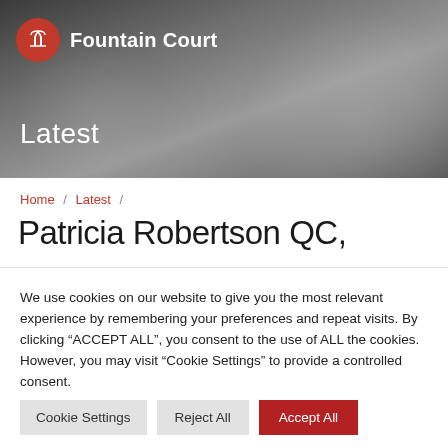[Figure (illustration): Fountain Court law chambers website header with red circle logo containing white arch/building icon, 'Fountain Court' text in white, and 'Latest' subtitle overlaid on a grayscale bokeh/rock texture background image]
Fountain Court
Home / Latest /
Patricia Robertson QC,
We use cookies on our website to give you the most relevant experience by remembering your preferences and repeat visits. By clicking "ACCEPT ALL", you consent to the use of ALL the cookies. However, you may visit "Cookie Settings" to provide a controlled consent.
Cookie Settings | Reject All | Accept All